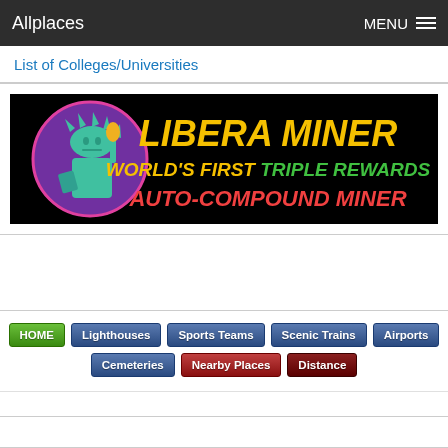Allplaces    MENU
List of Colleges/Universities
[Figure (illustration): Libera Miner advertisement banner. Black background with a Statue of Liberty illustration in a circular frame on the left. Text reads: LIBERA MINER in large yellow letters, WORLD'S FIRST in yellow, TRIPLE REWARDS in green, AUTO-COMPOUND MINER in red/orange.]
[Figure (screenshot): Navigation buttons: HOME (green), Lighthouses (blue), Sports Teams (blue), Scenic Trains (blue), Airports (blue), Cemeteries (blue), Nearby Places (red), Distance (dark red)]
©Allplaces.us All rights reserved.